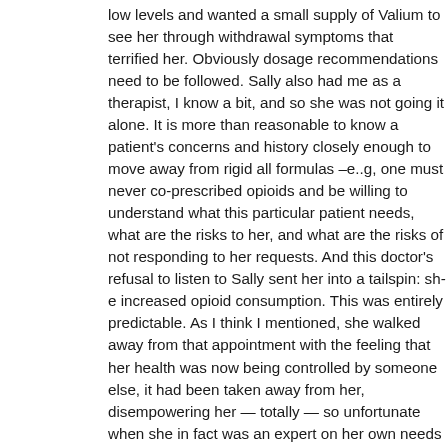low levels and wanted a small supply of Valium to see her through withdrawal symptoms that terrified her. Obviously dosage recommendations need to be followed. Sally also had me as a therapist, I know a bit, and so she was not going it alone. It is more than reasonable to know a patient's concerns and history closely enough to move away from rigid all formulas –e..g, one must never co-prescribed opioids and be willing to understand what this particular patient needs, what are the risks to her, and what are the risks of not responding to her requests. And this doctor's refusal to listen to Sally sent her into a tailspin: she increased opioid consumption. This was entirely predictable. As I think I mentioned, she walked away from that appointment with the feeling that her health was now being controlled by someone else, it had been taken away from her, disempowering her — totally — so unfortunate when she in fact was an expert on her own needs (as is often the case). For Sally this was also insensitive, as she had been controlled, pushed around, and dominated by men for most of her adult life. Doctors don't have time to be psychologists, fair enough. But sensitivity to the most conspicuous details of a patient's history is important. Especially since addiction itself is a psychological issue as much as or (in my view) far more than a medical issue.
It is well known that doctors and other related professionals sin...